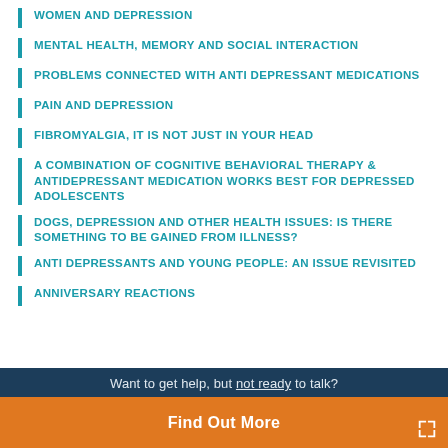WOMEN AND DEPRESSION
MENTAL HEALTH, MEMORY AND SOCIAL INTERACTION
PROBLEMS CONNECTED WITH ANTI DEPRESSANT MEDICATIONS
PAIN AND DEPRESSION
FIBROMYALGIA, IT IS NOT JUST IN YOUR HEAD
A COMBINATION OF COGNITIVE BEHAVIORAL THERAPY & ANTIDEPRESSANT MEDICATION WORKS BEST FOR DEPRESSED ADOLESCENTS
DOGS, DEPRESSION AND OTHER HEALTH ISSUES: IS THERE SOMETHING TO BE GAINED FROM ILLNESS?
ANTI DEPRESSANTS AND YOUNG PEOPLE: AN ISSUE REVISITED
ANNIVERSARY REACTIONS
Want to get help, but not ready to talk?
Find Out More